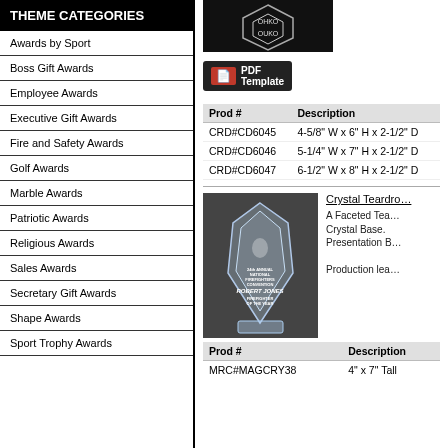[Figure (photo): Crystal hexagonal award with OHKO/OUKO engraving on dark background]
THEME CATEGORIES
Awards by Sport
Boss Gift Awards
Employee Awards
Executive Gift Awards
Fire and Safety Awards
Golf Awards
Marble Awards
Patriotic Awards
Religious Awards
Sales Awards
Secretary Gift Awards
Shape Awards
Sport Trophy Awards
[Figure (other): PDF Template button icon]
| Prod # | Description |
| --- | --- |
| CRD#CD6045 | 4-5/8" W x 6" H x 2-1/2" D |
| CRD#CD6046 | 5-1/4" W x 7" H x 2-1/2" D |
| CRD#CD6047 | 6-1/2" W x 8" H x 2-1/2" D |
[Figure (photo): Crystal Teardrop award with firefighter engraving showing ROBERT JONES FIREFIGHTER OF THE YEAR]
Crystal Teardro...
A Faceted Teardrop Crystal Base. Presentation B... Production lea...
| Prod # | Description |
| --- | --- |
| MRC#MAGCRY38 | 4" x 7" Tall |